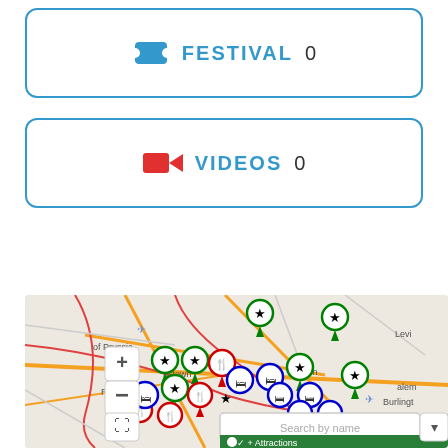[Figure (screenshot): Festival card with blue ticket icon, label FESTIVAL and count 0]
[Figure (screenshot): Videos card with red camera icon, label VIDEOS and count 0]
[Figure (map): Interactive map showing Philadelphia area with various map pins for restaurants (red fork/knife), hotels (blue bed), and attractions (green star). Includes zoom controls (+/-), fullscreen button, search by name box, and Attractions legend at bottom.]